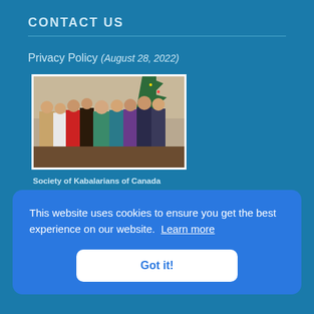CONTACT US
Privacy Policy (August 28, 2022)
[Figure (photo): Group photo of approximately 10 people standing together at what appears to be a holiday event, with a Christmas tree visible in the background.]
Society of Kabalarians of Canada
This website uses cookies to ensure you get the best experience on our website. Learn more
Got it!